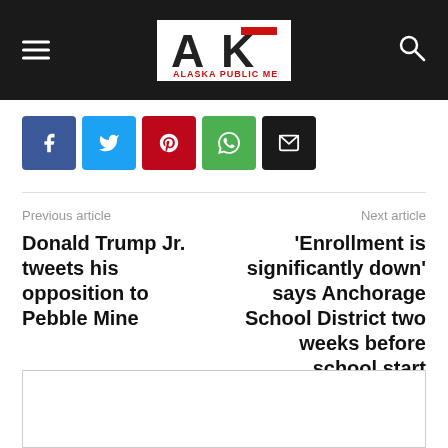Alaska Public Media
[Figure (logo): Alaska Public Media logo with AK monogram in red and black and text 'ALASKA PUBLIC MEDIA']
[Figure (other): Social share buttons: Facebook (blue), Twitter (light blue), Pinterest (red), WhatsApp (green), Email (black)]
Previous article
Donald Trump Jr. tweets his opposition to Pebble Mine
Next article
'Enrollment is significantly down' says Anchorage School District two weeks before school start